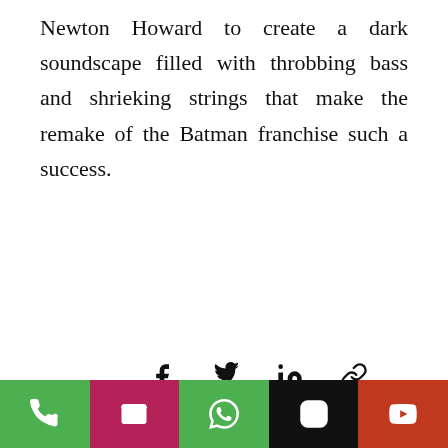Newton Howard to create a dark soundscape filled with throbbing bass and shrieking strings that make the remake of the Batman franchise such a success.
[Figure (other): Social sharing icons row: Facebook, Twitter, LinkedIn, Link/chain]
[Figure (other): Engagement metrics: eye icon with count 9, comment bubble icon, heart/like icon on right]
Recent Posts
See All
[Figure (photo): Photo strip showing a performer on stage with curly hair, dark background. Scroll-up button overlay in top right corner.]
[Figure (other): Bottom app bar with 5 buttons: phone (green), mail (pink/red), WhatsApp (green), Instagram (black), YouTube (orange-red)]